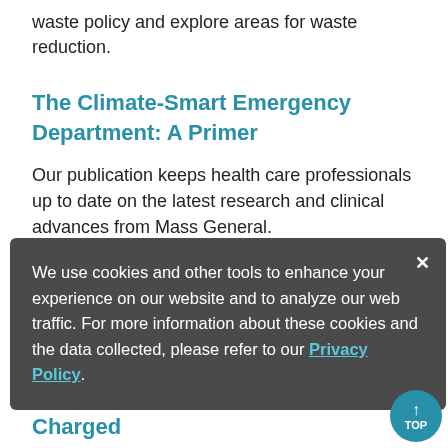waste policy and explore areas for waste reduction.
The Climate-Smart Emergency Department: A Primer
Our publication keeps health care professionals up to date on the latest research and clinical advances from Mass General.
Research Institute Plus
News and notes from the largest hospital-based re[search institute]
We use cookies and other tools to enhance your experience on our website and to analyze our web traffic. For more information about these cookies and the data collected, please refer to our Privacy Policy.
Charged